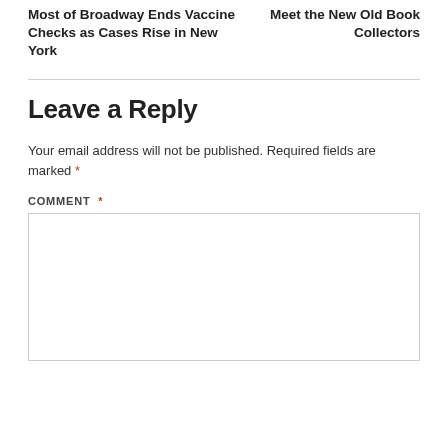Most of Broadway Ends Vaccine Checks as Cases Rise in New York
Meet the New Old Book Collectors
Leave a Reply
Your email address will not be published. Required fields are marked *
COMMENT *